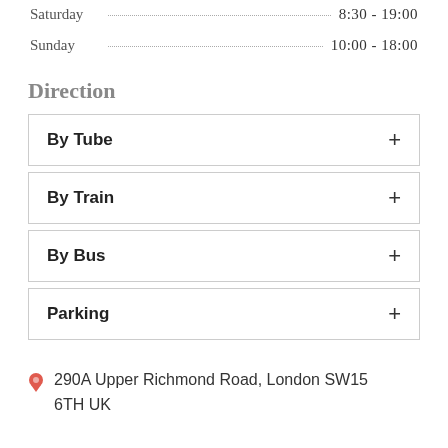Saturday  8:30 - 19:00
Sunday  10:00 - 18:00
Direction
By Tube
By Train
By Bus
Parking
290A Upper Richmond Road, London SW15 6TH UK